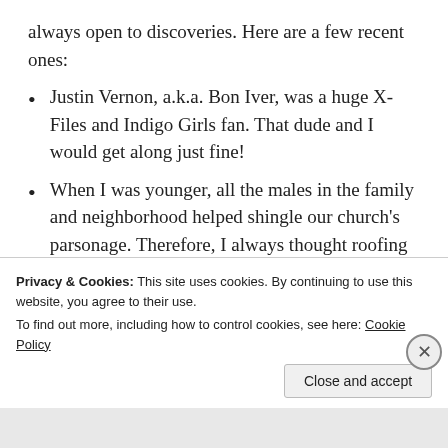always open to discoveries. Here are a few recent ones:
Justin Vernon, a.k.a. Bon Iver, was a huge X-Files and Indigo Girls fan. That dude and I would get along just fine!
When I was younger, all the males in the family and neighborhood helped shingle our church's parsonage. Therefore, I always thought roofing was something anyone could do. Thus, it pissed me off that there was a man in my home who was home all the time and our garage didn't have a decent
Privacy & Cookies: This site uses cookies. By continuing to use this website, you agree to their use.
To find out more, including how to control cookies, see here: Cookie Policy
Close and accept